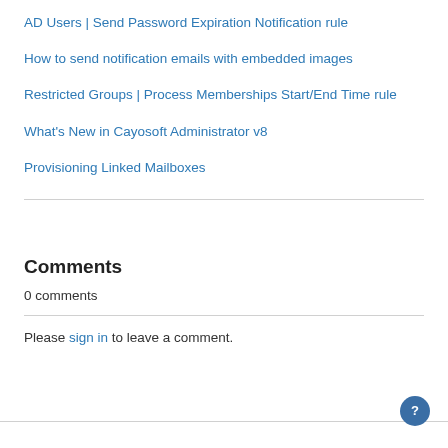AD Users | Send Password Expiration Notification rule
How to send notification emails with embedded images
Restricted Groups | Process Memberships Start/End Time rule
What's New in Cayosoft Administrator v8
Provisioning Linked Mailboxes
Comments
0 comments
Please sign in to leave a comment.